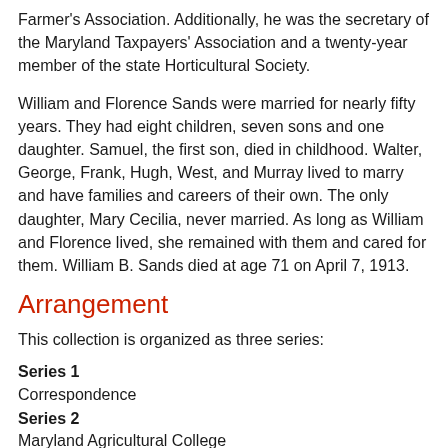Farmer's Association. Additionally, he was the secretary of the Maryland Taxpayers' Association and a twenty-year member of the state Horticultural Society.
William and Florence Sands were married for nearly fifty years. They had eight children, seven sons and one daughter. Samuel, the first son, died in childhood. Walter, George, Frank, Hugh, West, and Murray lived to marry and have families and careers of their own. The only daughter, Mary Cecilia, never married. As long as William and Florence lived, she remained with them and cared for them. William B. Sands died at age 71 on April 7, 1913.
Arrangement
This collection is organized as three series:
Series 1
Correspondence
Series 2
Maryland Agricultural College
Series 3
Photographs